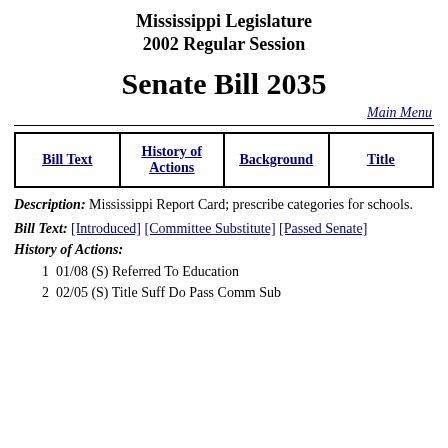Mississippi Legislature 2002 Regular Session
Senate Bill 2035
Main Menu
| Bill Text | History of Actions | Background | Title |
| --- | --- | --- | --- |
|  |
Description: Mississippi Report Card; prescribe categories for schools.
Bill Text: [Introduced] [Committee Substitute] [Passed Senate]
History of Actions:
1  01/08 (S) Referred To Education
2  02/05 (S) Title Suff Do Pass Comm Sub